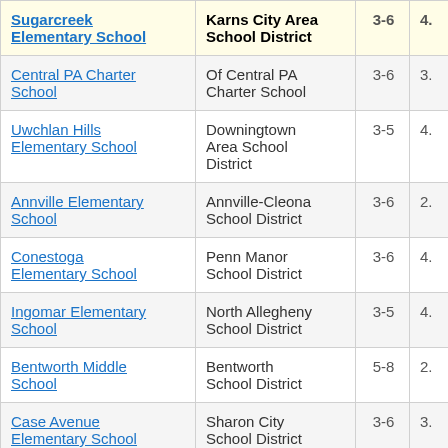| School | District | Grades | Score |
| --- | --- | --- | --- |
| Sugarcreek Elementary School | Karns City Area School District | 3-6 | 4. |
| Central PA Charter School | Of Central PA Charter School | 3-6 | 3. |
| Uwchlan Hills Elementary School | Downingtown Area School District | 3-5 | 4. |
| Annville Elementary School | Annville-Cleona School District | 3-6 | 2. |
| Conestoga Elementary School | Penn Manor School District | 3-6 | 4. |
| Ingomar Elementary School | North Allegheny School District | 3-5 | 4. |
| Bentworth Middle School | Bentworth School District | 5-8 | 2. |
| Case Avenue Elementary School | Sharon City School District | 3-6 | 3. |
| (partial) | Millcreek |  |  |